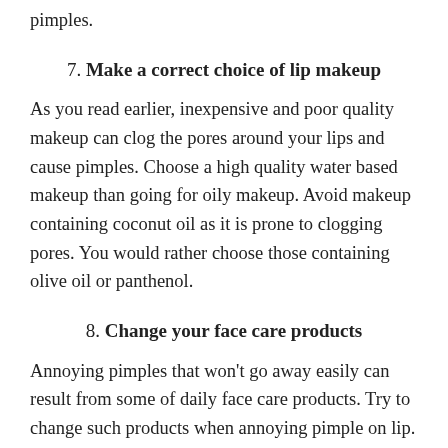pimples.
7. Make a correct choice of lip makeup
As you read earlier, inexpensive and poor quality makeup can clog the pores around your lips and cause pimples. Choose a high quality water based makeup than going for oily makeup. Avoid makeup containing coconut oil as it is prone to clogging pores. You would rather choose those containing olive oil or panthenol.
8. Change your face care products
Annoying pimples that won't go away easily can result from some of daily face care products. Try to change such products when annoying pimple on lip. Such products includes lotions, creams,